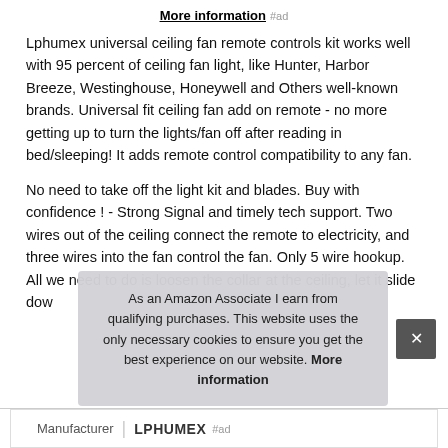More information #ad
Lphumex universal ceiling fan remote controls kit works well with 95 percent of ceiling fan light, like Hunter, Harbor Breeze, Westinghouse, Honeywell and Others well-known brands. Universal fit ceiling fan add on remote - no more getting up to turn the lights/fan off after reading in bed/sleeping! It adds remote control compatibility to any fan.
No need to take off the light kit and blades. Buy with confidence ! - Strong Signal and timely tech support. Two wires out of the ceiling connect the remote to electricity, and three wires into the fan control the fan. Only 5 wire hookup. All we need to do is loosen the collar at the ceiling, let it slide dow
As an Amazon Associate I earn from qualifying purchases. This website uses the only necessary cookies to ensure you get the best experience on our website. More information
| Manufacturer | LPHUMEX |
| --- | --- |